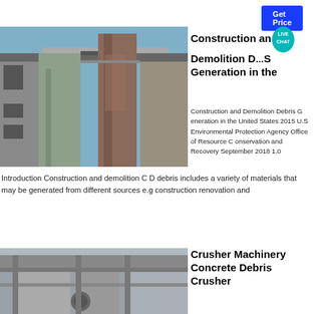Get Price
[Figure (photo): Industrial construction site showing large concrete pillars and metal ductwork structures against a blue sky]
Construction and Demolition Debris Generation in the
Construction and Demolition Debris G eneration in the United States 2015 U.S Environmental Protection Agency Office of Resource C onservation and Recovery September 2018 1.0
Introduction Construction and demolition C D debris includes a variety of materials that may be generated from different sources e.g construction renovation and
Get Price
[Figure (photo): Industrial crusher machinery building exterior with metal structure and pipes]
Crusher Machinery Concrete Debris Crusher